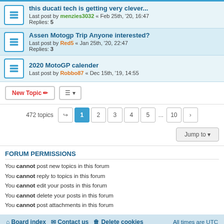this ducati tech is getting very clever... Last post by menzies3032 « Feb 25th, '20, 16:47 Replies: 5
Assen Motogp Trip Anyone interested? Last post by Red5 « Jan 25th, '20, 22:47 Replies: 3
2020 MotoGP calender Last post by Robbo87 « Dec 15th, '19, 14:55
472 topics
FORUM PERMISSIONS
You cannot post new topics in this forum
You cannot reply to topics in this forum
You cannot edit your posts in this forum
You cannot delete your posts in this forum
You cannot post attachments in this forum
Board index  Contact us  Delete cookies  All times are UTC
Powered by phpBB® Forum Software © phpBB Limited  Privacy | Terms